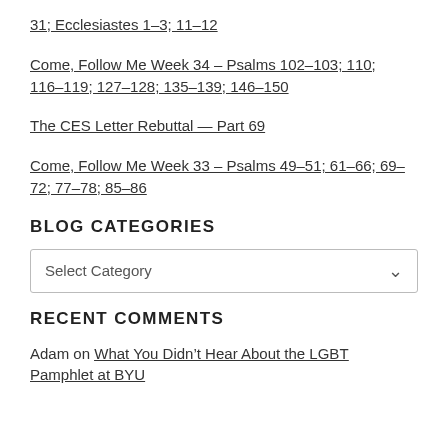31; Ecclesiastes 1–3; 11–12
Come, Follow Me Week 34 – Psalms 102–103; 110; 116–119; 127–128; 135–139; 146–150
The CES Letter Rebuttal – Part 69
Come, Follow Me Week 33 – Psalms 49–51; 61–66; 69–72; 77–78; 85–86
BLOG CATEGORIES
Select Category
RECENT COMMENTS
Adam on What You Didn't Hear About the LGBT Pamphlet at BYU